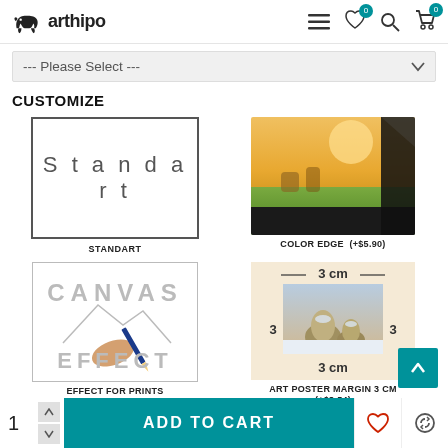arthipo
--- Please Select ---
CUSTOMIZE
[Figure (illustration): Standart canvas print option - white box with text 'Standart' in spaced letters]
STANDART
[Figure (photo): Color edge canvas print - photo of canvas with black frame edge showing nature scene]
COLOR EDGE  (+$5.90)
[Figure (illustration): Effect for prints option - hand holding pencil drawing canvas effect with CANVAS EFFECT text]
EFFECT FOR PRINTS (+$41.30)
[Figure (illustration): Art poster margin 3 cm option - Monet haystacks painting with margin indicators showing 3 cm]
ART POSTER MARGIN 3 CM (+$3.54)
[Figure (photo): Partial view of another customization option at bottom]
1  ADD TO CART